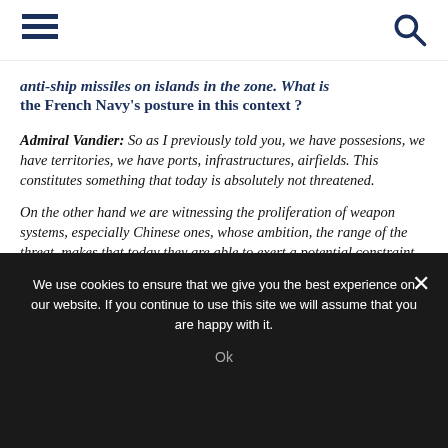[Navigation bar with hamburger menu and search icon]
anti-ship missiles on islands in the zone. What is the French Navy's posture in this context ?
Admiral Vandier: So as I previously told you, we have possesions, we have territories, we have ports, infrastructures, airfields. This constitutes something that today is absolutely not threatened.
On the other hand we are witnessing the proliferation of weapon systems, especially Chinese ones, whose ambition, the range of the threat, makes that today they are able to exert a potential constraint on activities carried out on the high seas. Here it is and so today all
We use cookies to ensure that we give you the best experience on our website. If you continue to use this site we will assume that you are happy with it.